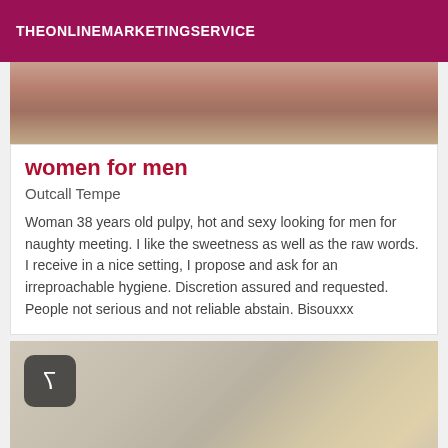THEONLINEMARKETINGSERVICE
[Figure (photo): Partial body photo cropped at top]
women for men
Outcall Tempe
Woman 38 years old pulpy, hot and sexy looking for men for naughty meeting. I like the sweetness as well as the raw words. I receive in a nice setting, I propose and ask for an irreproachable hygiene. Discretion assured and requested. People not serious and not reliable abstain. Bisouxxx
[Figure (photo): Photo with a number badge showing 7 in the top left corner]